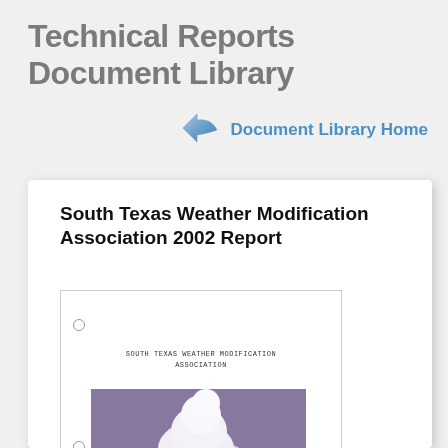Technical Reports Document Library
Document Library Home
South Texas Weather Modification Association 2002 Report
[Figure (photo): Thumbnail of the South Texas Weather Modification Association 2002 Report cover page, showing typewritten organization name 'SOUTH TEXAS WEATHER MODIFICATION ASSOCIATION' and a photograph of a large cumulonimbus cloud over water.]